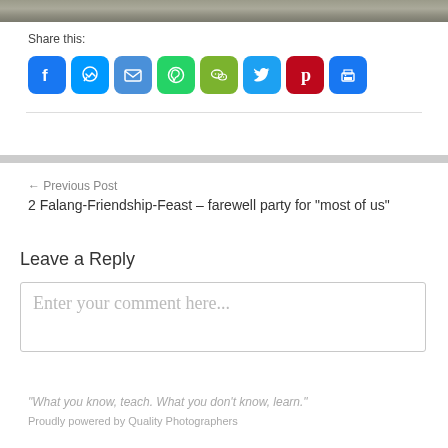[Figure (photo): Top portion of a photo showing a stone/cobblestone surface, cropped at bottom of image strip]
Share this:
[Figure (infographic): Row of 8 social media share buttons: Facebook (blue), Messenger (blue), Email (blue), WhatsApp (green), WeChat (olive green), Twitter (light blue), Pinterest (red), Print (blue)]
← Previous Post
2 Falang-Friendship-Feast – farewell party for "most of us"
Leave a Reply
Enter your comment here...
"What you know, teach. What you don't know, learn."
Proudly powered by Quality Photographers